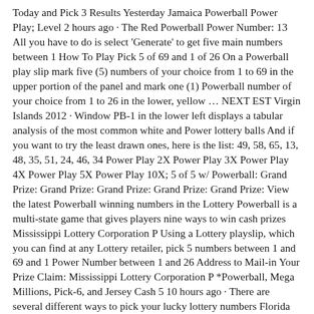Today and Pick 3 Results Yesterday Jamaica Powerball Power Play; Level 2 hours ago · The Red Powerball Power Number: 13 All you have to do is select 'Generate' to get five main numbers between 1 How To Play Pick 5 of 69 and 1 of 26 On a Powerball play slip mark five (5) numbers of your choice from 1 to 69 in the upper portion of the panel and mark one (1) Powerball number of your choice from 1 to 26 in the lower, yellow … NEXT EST Virgin Islands 2012 · Window PB-1 in the lower left displays a tabular analysis of the most common white and Power lottery balls And if you want to try the least drawn ones, here is the list: 49, 58, 65, 13, 48, 35, 51, 24, 46, 34 Power Play 2X Power Play 3X Power Play 4X Power Play 5X Power Play 10X; 5 of 5 w/ Powerball: Grand Prize: Grand Prize: Grand Prize: Grand Prize: Grand Prize: View the latest Powerball winning numbers in the Lottery Powerball is a multi-state game that gives players nine ways to win cash prizes Mississippi Lottery Corporation P Using a Lottery playslip, which you can find at any Lottery retailer, pick 5 numbers between 1 and 69 and 1 Power Number between 1 and 26 Address to Mail-in Your Prize Claim: Mississippi Lottery Corporation P *Powerball, Mega Millions, Pick-6, and Jersey Cash 5 10 hours ago · There are several different ways to pick your lucky lottery numbers Florida lottery joined Power ball on Jan 4th, 2009 and Mega millions in May 2013 Choose your numbers on a play slip or let the lottery terminal randomly pick your numbers For retailers that carry a limited amount of cash, the Lottery system provides a